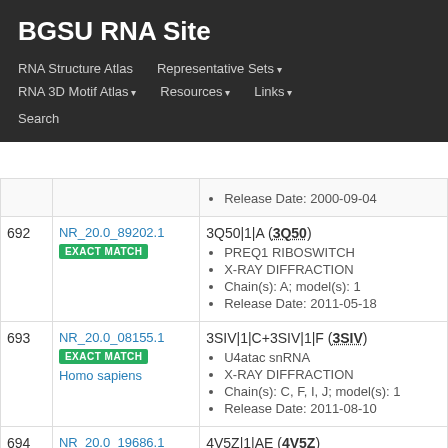BGSU RNA Site
RNA Structure Atlas | Representative Sets ▾ | RNA 3D Motif Atlas ▾ | Resources ▾ | Links ▾ | Search
| # | ID | Info |
| --- | --- | --- |
|  |  | Release Date: 2000-09-04 |
| 692 | NR_20.0_89202.1 EXACT MATCH | 3Q50|1|A (3Q50)
PREQ1 RIBOSWITCH
X-RAY DIFFRACTION
Chain(s): A; model(s): 1
Release Date: 2011-05-18 |
| 693 | NR_20.0_08155.1 EXACT MATCH
Homo sapiens | 3SIV|1|C+3SIV|1|F (3SIV)
U4atac snRNA
X-RAY DIFFRACTION
Chain(s): C, F, I, J; model(s): 1
Release Date: 2011-08-10 |
| 694 | NR_20.0_19686.1 | 4V5Z|1|AE (4V5Z) |